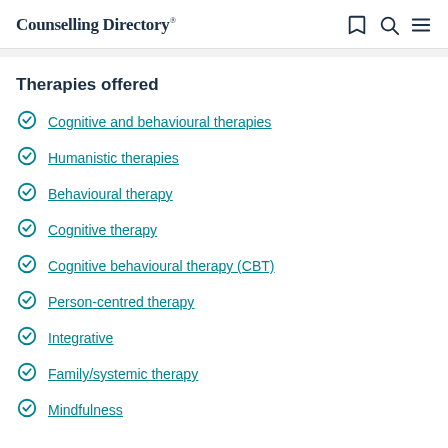Counselling Directory
Therapies offered
Cognitive and behavioural therapies
Humanistic therapies
Behavioural therapy
Cognitive therapy
Cognitive behavioural therapy (CBT)
Person-centred therapy
Integrative
Family/systemic therapy
Mindfulness